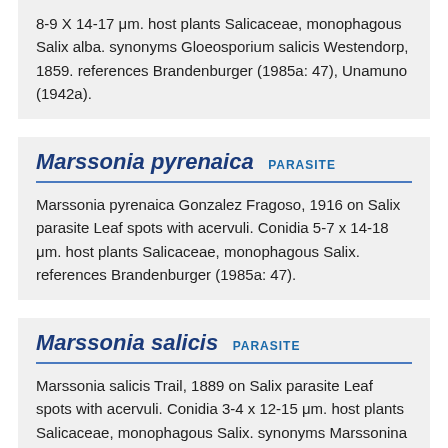8-9 X 14-17 μm. host plants Salicaceae, monophagous Salix alba. synonyms Gloeosporium salicis Westendorp, 1859. references Brandenburger (1985a: 47), Unamuno (1942a).
Marssonia pyrenaica PARASITE
Marssonia pyrenaica Gonzalez Fragoso, 1916 on Salix parasite Leaf spots with acervuli. Conidia 5-7 x 14-18 μm. host plants Salicaceae, monophagous Salix. references Brandenburger (1985a: 47).
Marssonia salicis PARASITE
Marssonia salicis Trail, 1889 on Salix parasite Leaf spots with acervuli. Conidia 3-4 x 12-15 μm. host plants Salicaceae, monophagous Salix. synonyms Marssonina salicis (Trail) Magnus, 1906.